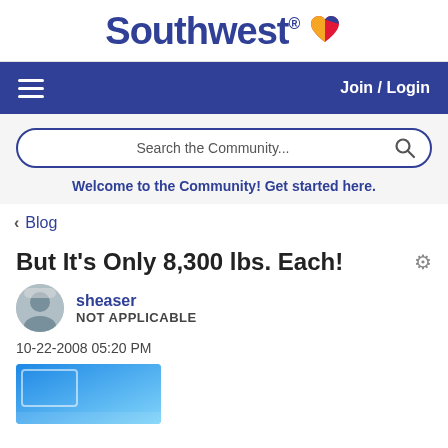[Figure (logo): Southwest Airlines logo with stylized text and heart icon]
≡   Join / Login
[Figure (screenshot): Search bar with text 'Search the Community...' and magnifying glass icon]
Welcome to the Community! Get started here.
< Blog
But It's Only 8,300 lbs. Each!
sheaser
NOT APPLICABLE
10-22-2008 05:20 PM
[Figure (photo): Partial photo of a blue aircraft/airplane surface]